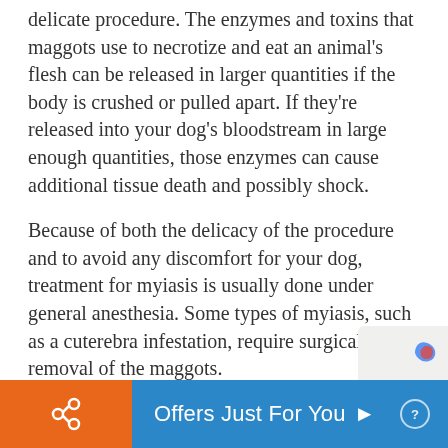delicate procedure. The enzymes and toxins that maggots use to necrotize and eat an animal's flesh can be released in larger quantities if the body is crushed or pulled apart. If they're released into your dog's bloodstream in large enough quantities, those enzymes can cause additional tissue death and possibly shock.
Because of both the delicacy of the procedure and to avoid any discomfort for your dog, treatment for myiasis is usually done under general anesthesia. Some types of myiasis, such as a cuterebra infestation, require surgical removal of the maggots.
The first step in treating maggots in dogs is typically cleaning and disinfecting the area with an antiseptic. However, some vets will choose to perform the
Offers Just For You ▶